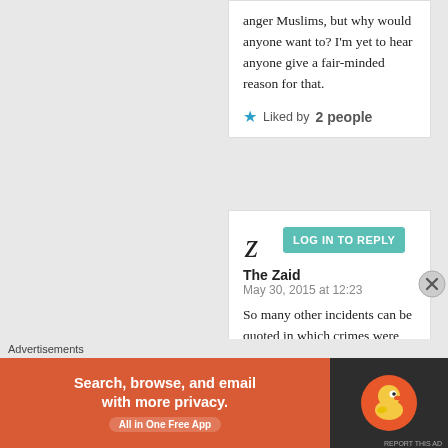anger Muslims, but why would anyone want to? I'm yet to hear anyone give a fair-minded reason for that.
Liked by 2 people
The Zaid
May 30, 2015 at 12:23
So many other incidents can be quoted in which crimes were committed
[Figure (screenshot): LOG IN TO REPLY button (teal/green background, white bold text)]
Advertisements
[Figure (other): DuckDuckGo advertisement banner: orange-red left side with text 'Search, browse, and email with more privacy. All in One Free App', dark right side with DuckDuckGo duck logo]